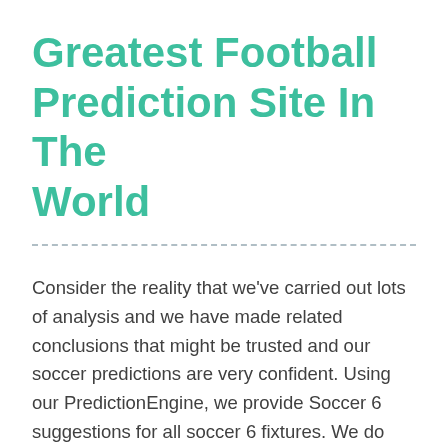Greatest Football Prediction Site In The World
Consider the reality that we've carried out lots of analysis and we have made related conclusions that might be trusted and our soccer predictions are very confident. Using our PredictionEngine, we provide Soccer 6 suggestions for all soccer 6 fixtures. We do that by taking every of the soccer 6 games and putting it although our database, taking a glance at all historic data we have, present league efficiency, if the match is house or away, and so forth. Using all this data, our